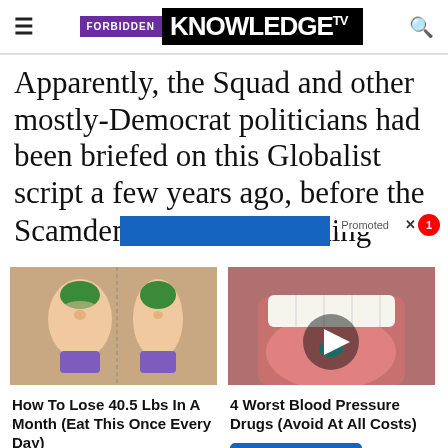FORBIDDEN KNOWLEDGE TV
Apparently, the Squad and other mostly-Democrat politicians had been briefed on this Globalist script a few years ago, before the Scamdemic and its attend...
[Figure (photo): Advertisement showing cartoon illustration of weight loss before/after torsos in purple bikini]
[Figure (photo): Advertisement photo of a pill on a person's tongue with a video play button overlay]
How To Lose 40.5 Lbs In A Month (Eat This Once Every Day)
Find Out More
4 Worst Blood Pressure Drugs (Avoid At All Costs)
Watch The Video